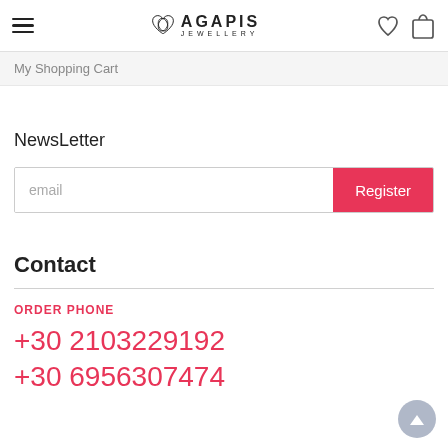[Figure (logo): Agapis Jewellery logo with heart/diamond icon and text]
My Shopping Cart
NewsLetter
email
Register
Contact
ORDER PHONE
+30 2103229192
+30 6956307474